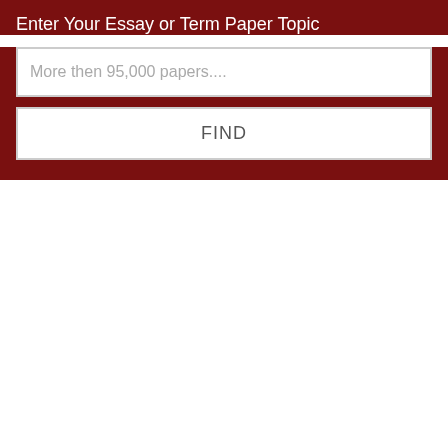Enter Your Essay or Term Paper Topic
More then 95,000 papers....
FIND